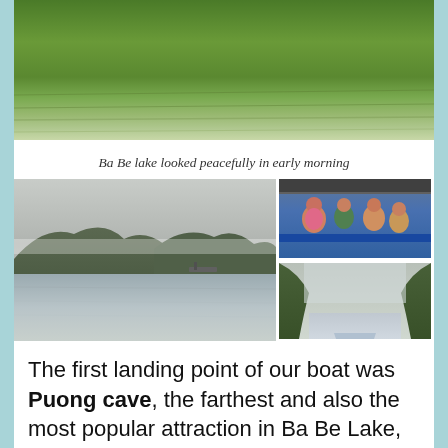[Figure (photo): Ba Be lake water surface looking green and peaceful in early morning, viewed from a boat]
Ba Be lake looked peacefully in early morning
[Figure (photo): Three photos: left large photo shows Ba Be lake with misty mountains and a boat; top right shows tourists sitting inside a covered boat; bottom right shows a narrow river channel between forested hills with mist]
The first landing point of our boat was Puong cave, the farthest and also the most popular attraction in Ba Be Lake.